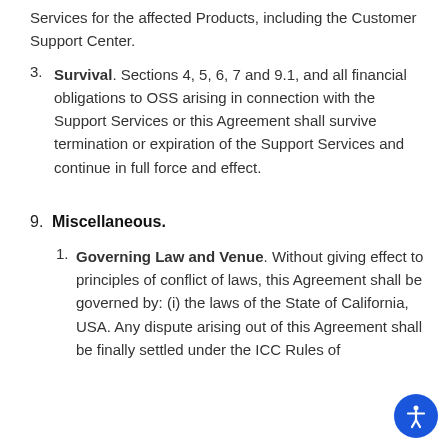Services for the affected Products, including the Customer Support Center.
Survival. Sections 4, 5, 6, 7 and 9.1, and all financial obligations to OSS arising in connection with the Support Services or this Agreement shall survive termination or expiration of the Support Services and continue in full force and effect.
9. Miscellaneous.
Governing Law and Venue. Without giving effect to principles of conflict of laws, this Agreement shall be governed by: (i) the laws of the State of California, USA. Any dispute arising out of this Agreement shall be finally settled under the ICC Rules of